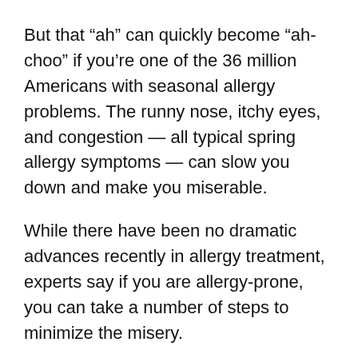But that “ah” can quickly become “ah-choo” if you’re one of the 36 million Americans with seasonal allergy problems. The runny nose, itchy eyes, and congestion — all typical spring allergy symptoms — can slow you down and make you miserable.
While there have been no dramatic advances recently in allergy treatment, experts say if you are allergy-prone, you can take a number of steps to minimize the misery.
Triggers, or allergens, can vary by region of the country, but two main culprits are to blame for many spring seasonal allergy problems, experts say.
Ragweed and other weed pollens. Ragweed is a stubborn plant and grows easily in fields, along